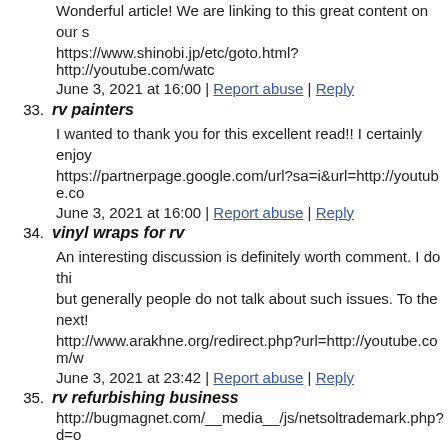Wonderful article! We are linking to this great content on our s
https://www.shinobi.jp/etc/goto.html?http://youtube.com/watc
June 3, 2021 at 16:00 | Report abuse | Reply
33. rv painters
I wanted to thank you for this excellent read!! I certainly enjoy
https://partnerpage.google.com/url?sa=i&url=http://youtube.co
June 3, 2021 at 16:00 | Report abuse | Reply
34. vinyl wraps for rv
An interesting discussion is definitely worth comment. I do thi but generally people do not talk about such issues. To the next!
http://www.arakhne.org/redirect.php?url=http://youtube.com/w
June 3, 2021 at 23:42 | Report abuse | Reply
35. rv refurbishing business
http://bugmagnet.com/__media__/js/netsoltrademark.php?d=o
June 4, 2021 at 01:19 | Report abuse | Reply